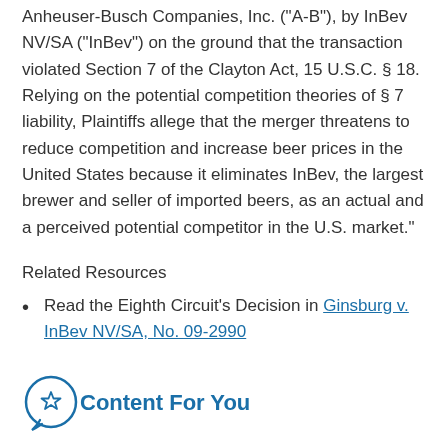Anheuser-Busch Companies, Inc. ("A-B"), by InBev NV/SA ("InBev") on the ground that the transaction violated Section 7 of the Clayton Act, 15 U.S.C. § 18. Relying on the potential competition theories of § 7 liability, Plaintiffs allege that the merger threatens to reduce competition and increase beer prices in the United States because it eliminates InBev, the largest brewer and seller of imported beers, as an actual and a perceived potential competitor in the U.S. market."
Related Resources
Read the Eighth Circuit's Decision in Ginsburg v. InBev NV/SA, No. 09-2990